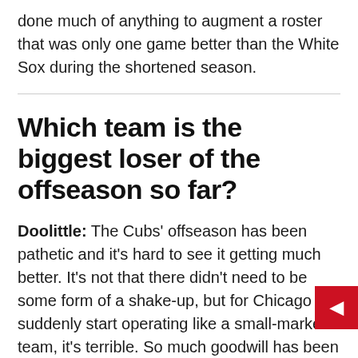done much of anything to augment a roster that was only one game better than the White Sox during the shortened season.
Which team is the biggest loser of the offseason so far?
Doolittle: The Cubs' offseason has been pathetic and it's hard to see it getting much better. It's not that there didn't need to be some form of a shake-up, but for Chicago to suddenly start operating like a small-market team, it's terrible. So much goodwill has been squandered. It's not that the Cubs can't weather this for a couple of